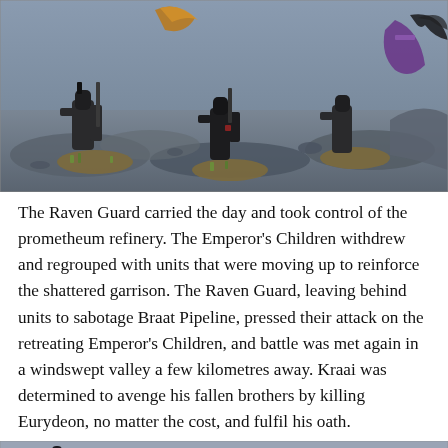[Figure (photo): Warhammer 40K miniatures battle scene — Raven Guard and Emperor's Children Space Marine figures on a rocky grey terrain with tufts of grass. Several armored figures in dark and black armor are posed mid-battle.]
The Raven Guard carried the day and took control of the prometheum refinery. The Emperor's Children withdrew and regrouped with units that were moving up to reinforce the shattered garrison. The Raven Guard, leaving behind units to sabotage Braat Pipeline, pressed their attack on the retreating Emperor's Children, and battle was met again in a windswept valley a few kilometres away. Kraai was determined to avenge his fallen brothers by killing Eurydeon, no matter the cost, and fulfil his oath.
[Figure (photo): Bottom strip of another Warhammer 40K miniatures scene, partially visible — figures on bases with terrain.]